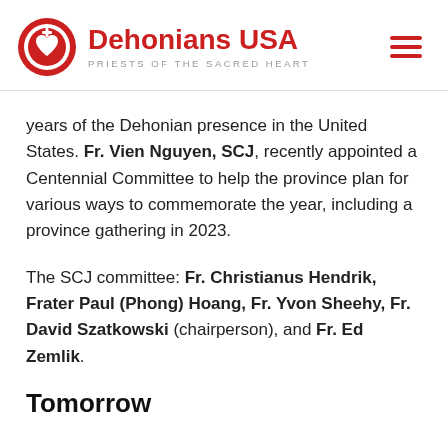Dehonians USA — PRIESTS OF THE SACRED HEART
years of the Dehonian presence in the United States. Fr. Vien Nguyen, SCJ, recently appointed a Centennial Committee to help the province plan for various ways to commemorate the year, including a province gathering in 2023.
The SCJ committee: Fr. Christianus Hendrik, Frater Paul (Phong) Hoang, Fr. Yvon Sheehy, Fr. David Szatkowski (chairperson), and Fr. Ed Zemlik.
Tomorrow